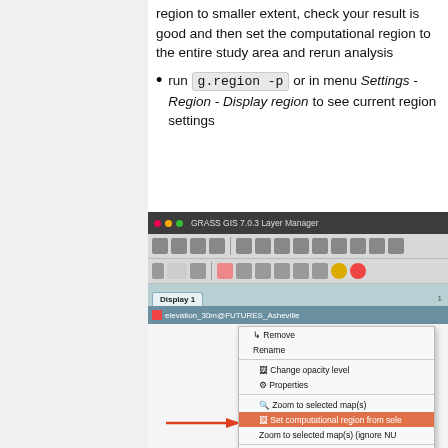region to smaller extent, check your result is good and then set the computational region to the entire study area and rerun analysis
run g.region -p or in menu Settings - Region - Display region to see current region settings
[Figure (screenshot): GRASS GIS 7.0.3 Layer Manager window showing a context menu with 'Set computational region from selected map(s)' option highlighted in orange, with an arrow pointing to it. The context menu includes options: Remove, Rename, Change opacity level, Properties, Zoom to selected map(s), Set computational region from sele..., Zoom to selected map(s) (ignore NU..., Export, Create pack, Make a copy in the current mapset, Set color table, Histogram, Univariate raster statistics, Report raster statistics, Profile]